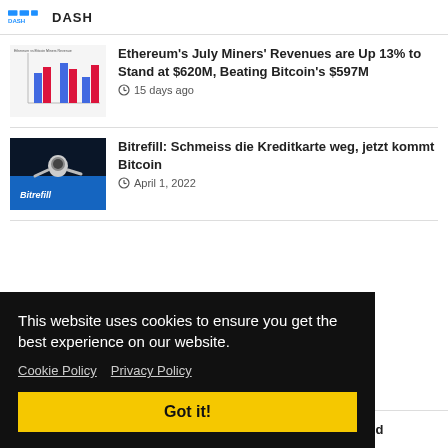DASH
[Figure (bar-chart): Small bar chart thumbnail showing blue and red bars comparing mining revenues]
Ethereum's July Miners' Revenues are Up 13% to Stand at $620M, Beating Bitcoin's $597M
15 days ago
[Figure (photo): Astronaut floating in space with Bitrefill branding on blue surface]
Bitrefill: Schmeiss die Kreditkarte weg, jetzt kommt Bitcoin
April 1, 2022
This website uses cookies to ensure you get the best experience on our website.
Cookie Policy  Privacy Policy
Got it!
Snoop Dogg's Son Cordell Broadus Named